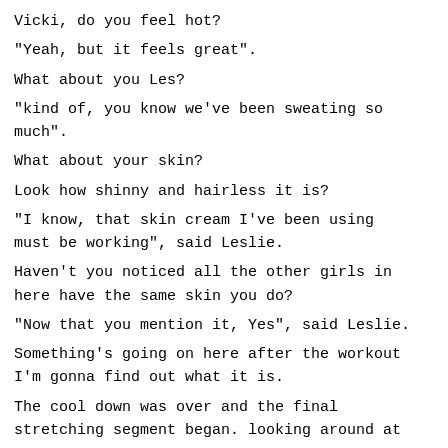Vicki, do you feel hot?
"Yeah, but it feels great".
What about you Les?
"kind of, you know we've been sweating so much".
What about your skin?
Look how shinny and hairless it is?
"I know, that skin cream I've been using must be working", said Leslie.
Haven't you noticed all the other girls in here have the same skin you do?
"Now that you mention it, Yes", said Leslie.
Something's going on here after the workout I'm gonna find out what it is.
The cool down was over and the final stretching segment began. looking around at